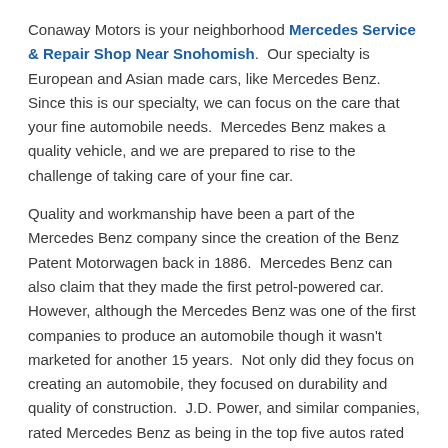Conaway Motors is your neighborhood Mercedes Service & Repair Shop Near Snohomish. Our specialty is European and Asian made cars, like Mercedes Benz. Since this is our specialty, we can focus on the care that your fine automobile needs. Mercedes Benz makes a quality vehicle, and we are prepared to rise to the challenge of taking care of your fine car.
Quality and workmanship have been a part of the Mercedes Benz company since the creation of the Benz Patent Motorwagen back in 1886. Mercedes Benz can also claim that they made the first petrol-powered car. However, although the Mercedes Benz was one of the first companies to produce an automobile though it wasn't marketed for another 15 years. Not only did they focus on creating an automobile, they focused on durability and quality of construction. J.D. Power, and similar companies, rated Mercedes Benz as being in the top five autos rated for durability. Mercedes Benz can also claim that they have the lowest recall rate, according to Reuters. In a world where it seems as if there is a recall every week, it is nice to know that there is one brand that is highly rated for both